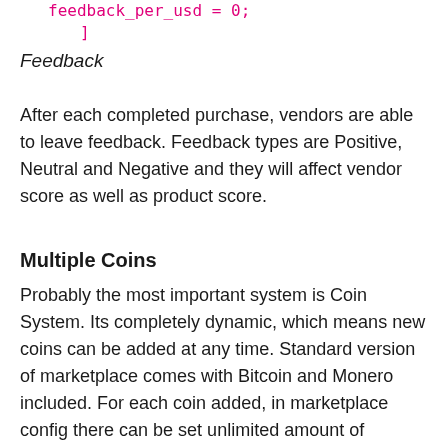feedback_per_usd = 0;
]
Feedback
After each completed purchase, vendors are able to leave feedback. Feedback types are Positive, Neutral and Negative and they will affect vendor score as well as product score.
Multiple Coins
Probably the most important system is Coin System. Its completely dynamic, which means new coins can be added at any time. Standard version of marketplace comes with Bitcoin and Monero included. For each coin added, in marketplace config there can be set unlimited amount of marketplace addresses (used for receiving fees from purchases), and in case more than one address is present, address for receiving fee will be choosen randomly (from those above).